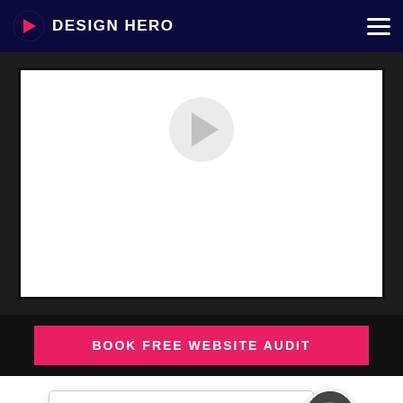Design Hero
[Figure (screenshot): Video player area with play button in center, white background inside dark border]
BOOK FREE WEBSITE AUDIT
TAKE OFF ONLINE WITH THE SUPERPOWERED WEB DESIGN AGENCY IN B...
AS SEEN ON
Need Help?